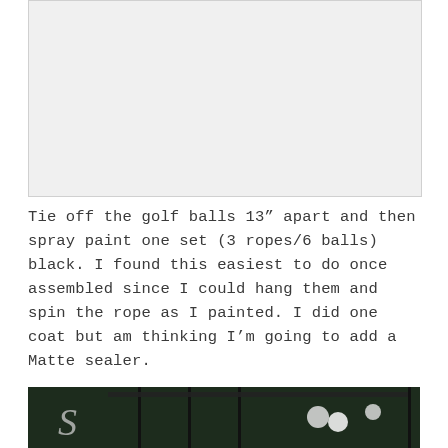[Figure (photo): Top image placeholder – light gray rectangle representing a photo of golf balls/rope assembly]
Tie off the golf balls 13” apart and then spray paint one set (3 ropes/6 balls) black. I found this easiest to do once assembled since I could hang them and spin the rope as I painted. I did one coat but am thinking I’m going to add a Matte sealer.
[Figure (photo): Partial photo at bottom showing black painted golf balls on rope with green foliage background and a decorative letter S visible on the left]